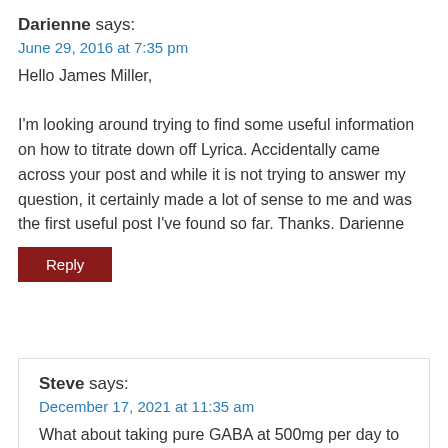Darienne says:
June 29, 2016 at 7:35 pm
Hello James Miller,

I'm looking around trying to find some useful information on how to titrate down off Lyrica. Accidentally came across your post and while it is not trying to answer my question, it certainly made a lot of sense to me and was the first useful post I've found so far. Thanks. Darienne
Reply
Steve says:
December 17, 2021 at 11:35 am
What about taking pure GABA at 500mg per day to wean off Lyrica?